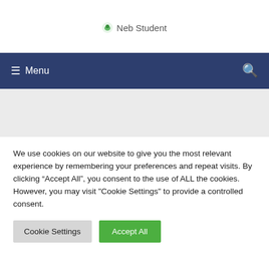[Figure (logo): Neb Student logo with small green/nature icon and text 'Neb Student']
≡ Menu  🔍
We use cookies on our website to give you the most relevant experience by remembering your preferences and repeat visits. By clicking "Accept All", you consent to the use of ALL the cookies. However, you may visit "Cookie Settings" to provide a controlled consent.
Cookie Settings  Accept All